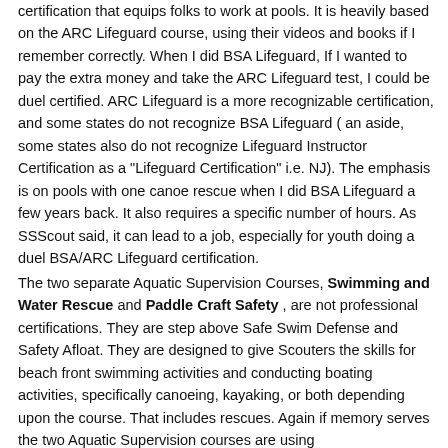certification that equips folks to work at pools. It is heavily based on the ARC Lifeguard course, using their videos and books if I remember correctly. When I did BSA Lifeguard, If I wanted to pay the extra money and take the ARC Lifeguard test, I could be duel certified. ARC Lifeguard is a more recognizable certification, and some states do not recognize BSA Lifeguard ( an aside, some states also do not recognize Lifeguard Instructor Certification as a "Lifeguard Certification" i.e. NJ). The emphasis is on pools with one canoe rescue when I did BSA Lifeguard a few years back. It also requires a specific number of hours. As SSScout said, it can lead to a job, especially for youth doing a duel BSA/ARC Lifeguard certification.
The two separate Aquatic Supervision Courses, Swimming and Water Rescue and Paddle Craft Safety , are not professional certifications. They are step above Safe Swim Defense and Safety Afloat. They are designed to give Scouters the skills for beach front swimming activities and conducting boating activities, specifically canoeing, kayaking, or both depending upon the course. That includes rescues. Again if memory serves the two Aquatic Supervision courses are using